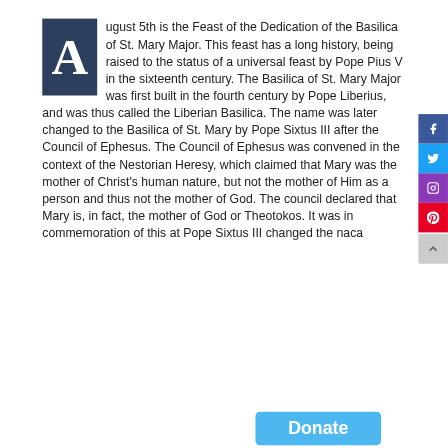August 5th is the Feast of the Dedication of the Basilica of St. Mary Major. This feast has a long history, being raised to the status of a universal feast by Pope Pius V in the sixteenth century. The Basilica of St. Mary Major was first built in the fourth century by Pope Liberius, and was thus called the Liberian Basilica. The name was later changed to the Basilica of St. Mary by Pope Sixtus III after the Council of Ephesus. The Council of Ephesus was convened in the context of the Nestorian Heresy, which claimed that Mary was the mother of Christ's human nature, but not the mother of Him as a person and thus not the mother of God. The council declared that Mary is, in fact, the mother of God or Theotokos. It was in commemoration of this that Pope Sixtus III changed the name of the Basilica